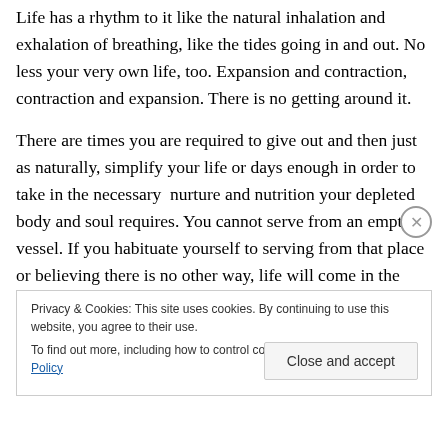Life has a rhythm to it like the natural inhalation and exhalation of breathing, like the tides going in and out. No less your very own life, too. Expansion and contraction, contraction and expansion. There is no getting around it.
There are times you are required to give out and then just as naturally, simplify your life or days enough in order to take in the necessary  nurture and nutrition your depleted body and soul requires. You cannot serve from an empty vessel. If you habituate yourself to serving from that place or believing there is no other way, life will come in the backdoor to simplify it for you. It will make a way where
Privacy & Cookies: This site uses cookies. By continuing to use this website, you agree to their use.
To find out more, including how to control cookies, see here: Cookie Policy